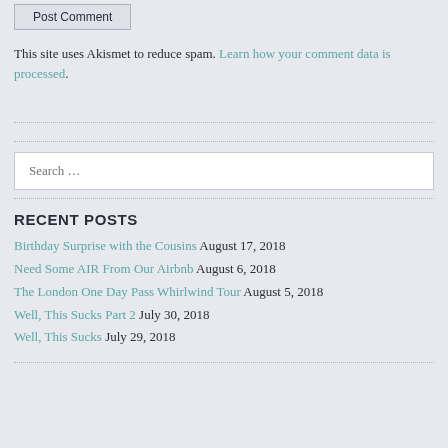Post Comment
This site uses Akismet to reduce spam. Learn how your comment data is processed.
Search …
RECENT POSTS
Birthday Surprise with the Cousins August 17, 2018
Need Some AIR From Our Airbnb August 6, 2018
The London One Day Pass Whirlwind Tour August 5, 2018
Well, This Sucks Part 2 July 30, 2018
Well, This Sucks July 29, 2018